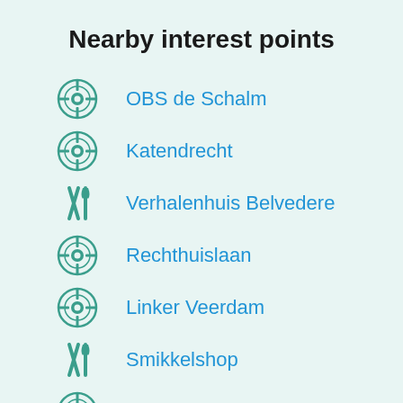Nearby interest points
OBS de Schalm
Katendrecht
Verhalenhuis Belvedere
Rechthuislaan
Linker Veerdam
Smikkelshop
Fruitlaan